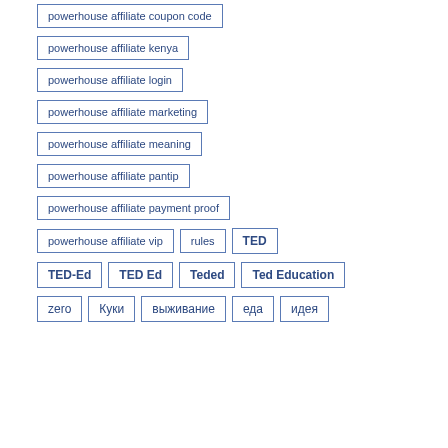powerhouse affiliate coupon code
powerhouse affiliate kenya
powerhouse affiliate login
powerhouse affiliate marketing
powerhouse affiliate meaning
powerhouse affiliate pantip
powerhouse affiliate payment proof
powerhouse affiliate vip
rules
TED
TED-Ed
TED Ed
Teded
Ted Education
zero
Куки
выживание
еда
идея